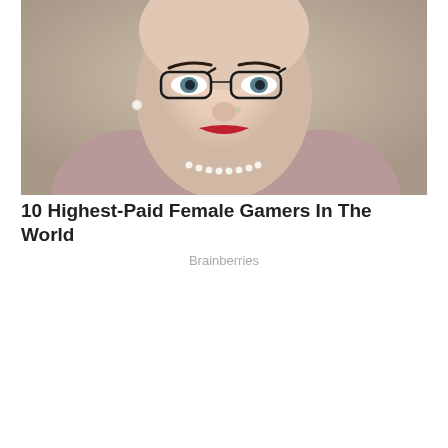[Figure (photo): Close-up photo of a woman with a shaved head, cat-eye glasses, red lipstick, pearl necklace, and a mauve top, smiling at the camera.]
10 Highest-Paid Female Gamers In The World
Brainberries